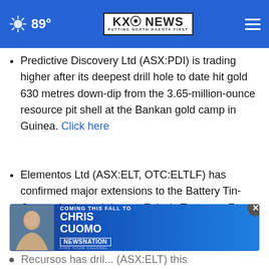89° KXO NEWS PUTTING NORTH DAKOTA FIRST
Predictive Discovery Ltd (ASX:PDI) is trading higher after its deepest drill hole to date hit gold 630 metres down-dip from the 3.65-million-ounce resource pit shell at the Bankan gold camp in Guinea. Click here
Elementos Ltd (ASX:ELT, OTC:ELTLF) has confirmed major extensions to the Battery Tin-Copper Lode and deeper Foley's Tungsten Zone at its Cleveland Tin project
[Figure (screenshot): Advertisement banner for Chris Cuomo coming to NewsNation this fall, with close button (X)]